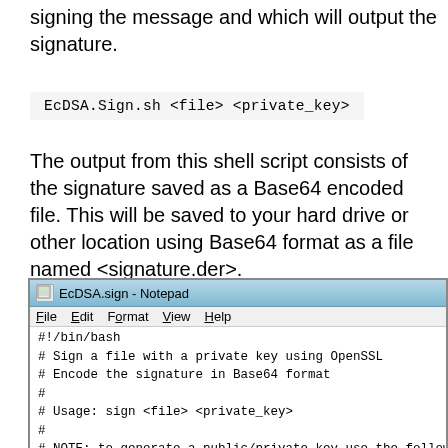signing the message and which will output the signature.
The output from this shell script consists of the signature saved as a Base64 encoded file. This will be saved to your hard drive or other location using Base64 format as a file named <signature.der>.
[Figure (screenshot): Notepad window showing EcDSA.sign shell script with bash code including shebang, comments about signing with OpenSSL, usage instructions, and filename=$1 variable assignment.]